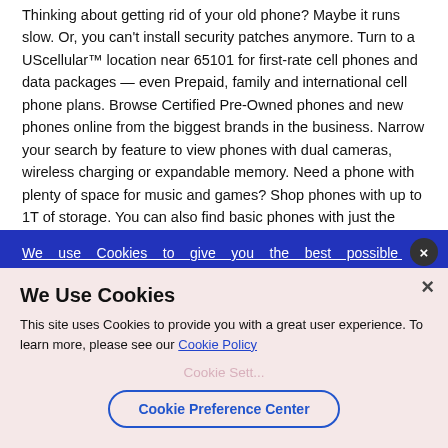Thinking about getting rid of your old phone? Maybe it runs slow. Or, you can't install security patches anymore. Turn to a UScellular™ location near 65101 for first-rate cell phones and data packages — even Prepaid, family and international cell phone plans. Browse Certified Pre-Owned phones and new phones online from the biggest brands in the business. Narrow your search by feature to view phones with dual cameras, wireless charging or expandable memory. Need a phone with plenty of space for music and games? Shop phones with up to 1T of storage. You can also find basic phones with just the essentials, like calling and texting. You're in control. You can even bring your own phone or tablet when you switch. Submit an online order or stop by a UScellular™ location near 65101 with your compatible device. We'll take care of the rest.
We use Cookies to give you the best possible web/mobile experience. You can learn more about the cookies we use, why we use them, and how you can manage your preferences through our Cookie Information page.
We Use Cookies
This site uses Cookies to provide you with a great user experience. To learn more, please see our Cookie Policy
Cookie Preference Center